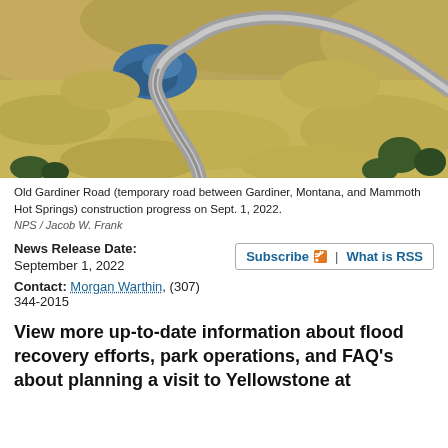[Figure (photo): Aerial photograph of Old Gardiner Road (temporary road between Gardiner, Montana, and Mammoth Hot Springs), showing a winding road through golden-brown grassland hills with a small blue pond, photographed on September 1, 2022.]
Old Gardiner Road (temporary road between Gardiner, Montana, and Mammoth Hot Springs) construction progress on Sept. 1, 2022.
NPS / Jacob W. Frank
News Release Date:
September 1, 2022
Contact: Morgan Warthin, (307) 344-2015
View more up-to-date information about flood recovery efforts, park operations, and FAQ's about planning a visit to Yellowstone at